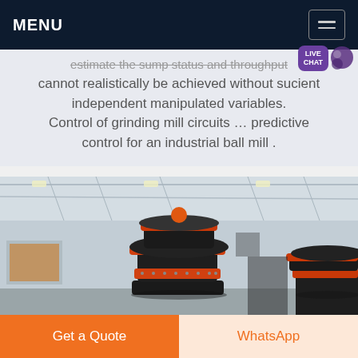MENU
estimate the sump status and throughput cannot realistically be achieved without sufficient independent manipulated variables. Control of grinding mill circuits … predictive control for an industrial ball mill .
[Figure (photo): Industrial ball mill / grinding mill machinery inside a large factory/warehouse, showing large black cylindrical mills with orange banding, photographed from below looking up at the ceiling structure.]
Get a Quote
WhatsApp